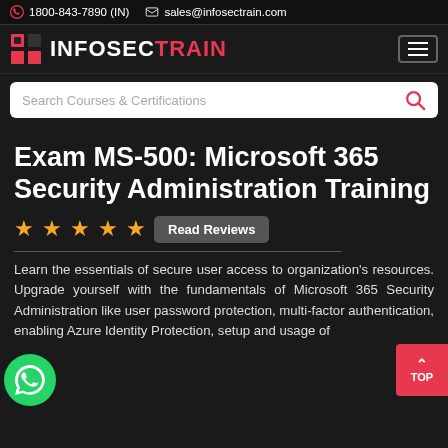1800-843-7890 (IN)   sales@infosectrain.com
[Figure (logo): InfosecTrain logo with red grid icon and INFOSEC in white, TRAIN in red, with hamburger menu button]
[Figure (screenshot): Search bar with placeholder text: Search Courses & Certifications and a red search icon]
Exam MS-500: Microsoft 365 Security Administration Training
[Figure (infographic): Five gold/orange star rating icons followed by a Read Reviews button]
Learn the essentials of secure user access to organization's resources. Upgrade yourself with the fundamentals of Microsoft 365 Security Administration like user password protection, multi-factor authentication, enabling Azure Identity Protection, setup and usage of